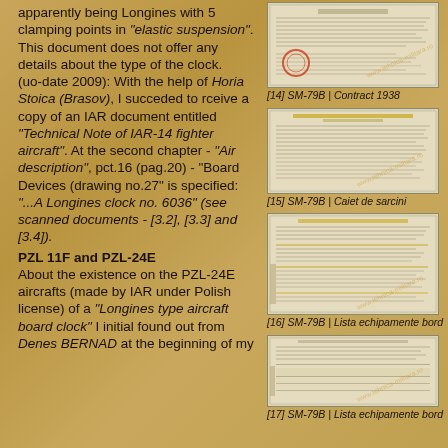apparently being Longines with 5 clamping points in "elastic suspension". This document does not offer any details about the type of the clock.
(uo-date 2009): With the help of Horia Stoica (Brasov), I succeded to rceive a copy of an IAR document entitled "Technical Note of IAR-14 fighter aircraft". At the second chapter - "Air description", pct.16 (pag.20) - "Board Devices (drawing no.27" is specified:
"...A Longines clock no. 6036" (see scanned documents - [3.2], [3.3] and [3.4]).
PZL 11F and PZL-24E
About the existence on the PZL-24E aircrafts (made by IAR under Polish license) of a "Longines type aircraft board clock" I initial found out from Denes BERNAD at the beginning of my
[Figure (photo): Scanned document image - SM-79B Contract 1938]
[14] SM-79B | Contract 1938
[Figure (photo): Scanned document image - SM-79B Caiet de sarcini]
[15] SM-79B | Caiet de sarcini
[Figure (photo): Scanned document image - SM-79B Lista echipamente bord]
[16] SM-79B | Lista echipamente bord
[Figure (photo): Scanned document image - SM-79B Lista echipamente bord (second)]
[17] SM-79B | Lista echipamente bord